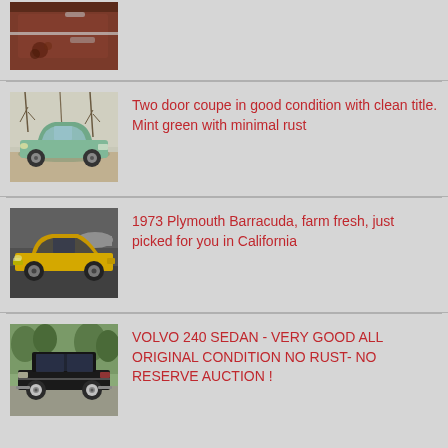[Figure (photo): Close-up of a rusty red/brown car door with horizontal chrome trim]
[Figure (photo): Mint green two-door coupe parked outdoors with bare trees in background]
Two door coupe in good condition with clean title. Mint green with minimal rust
[Figure (photo): Yellow 1973 Plymouth Barracuda parked in a lot with a covered car in background]
1973 Plymouth Barracuda, farm fresh, just picked for you in California
[Figure (photo): Black Volvo 240 sedan parked outdoors with trees in background]
VOLVO 240 SEDAN - VERY GOOD ALL ORIGINAL CONDITION NO RUST- NO RESERVE AUCTION !